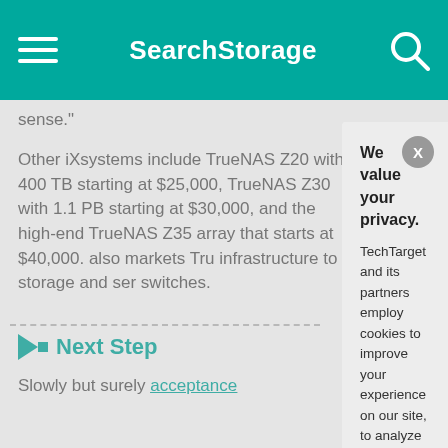SearchStorage
sense."
Other iXsystems include TrueNAS Z20 with 400 TB starting at $25,000, TrueNAS Z30 with 1.1 PB starting at $30,000, and the high-end TrueNAS Z35 array that starts at $40,000. also markets Tr... infrastructure to ... storage and ser... switches.
Next Steps
Slowly but surely... acceptance
We value your privacy. TechTarget and its partners employ cookies to improve your experience on our site, to analyze traffic and performance, and to serve personalized content and advertising that are relevant to your professional interests. You can manage your settings at any time. Please view our Privacy Policy for more information